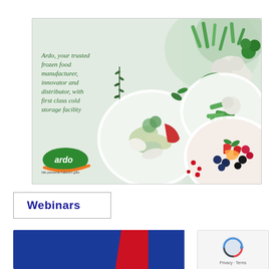[Figure (photo): Ardo advertisement banner showing bowls of fresh vegetables and mixed berries/fruits on a light background. Text overlay reads: 'Ardo, your trusted frozen food manufacturer, innovator and distributor, with first class cold storage facility'. Ardo logo with green oval and orange swoosh at bottom left, tagline 'We preserve nature's gifts'.]
Webinars
[Figure (other): Partial blue and red banner at bottom of page, partially cropped. reCAPTCHA widget visible at bottom right with 'Privacy - Terms' text.]